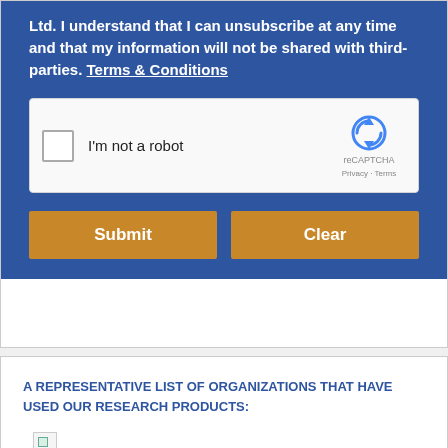Ltd. I understand that I can unsubscribe at any time and that my information will not be shared with third-parties. Terms & Conditions
[Figure (other): reCAPTCHA widget with checkbox labeled 'I'm not a robot' and reCAPTCHA logo with Privacy - Terms links]
Submit
Clear
A REPRESENTATIVE LIST OF ORGANIZATIONS THAT HAVE USED OUR RESEARCH PRODUCTS:
[Figure (other): Broken image placeholder icon]